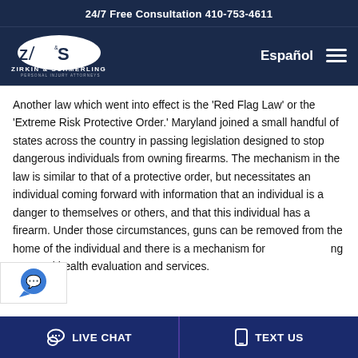24/7 Free Consultation 410-753-4611
[Figure (logo): Zirkin & Schmerling Law logo with oval emblem and text 'PERSONAL INJURY ATTORNEYS']
Español
Another law which went into effect is the 'Red Flag Law' or the 'Extreme Risk Protective Order.' Maryland joined a small handful of states across the country in passing legislation designed to stop dangerous individuals from owning firearms. The mechanism in the law is similar to that of a protective order, but necessitates an individual coming forward with information that an individual is a danger to themselves or others, and that this individual has a firearm. Under those circumstances, guns can be removed from the home of the individual and there is a mechanism for getting a mental health evaluation and services.
LIVE CHAT   TEXT US